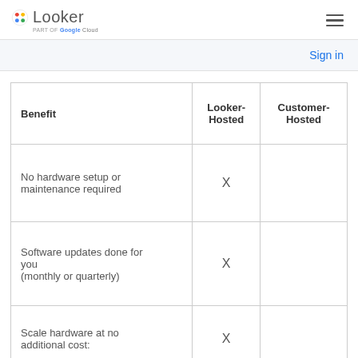Looker — part of Google Cloud
Sign in
| Benefit | Looker-Hosted | Customer-Hosted |
| --- | --- | --- |
| No hardware setup or maintenance required | X |  |
| Software updates done for you (monthly or quarterly) | X |  |
| Scale hardware at no additional cost: | X |  |